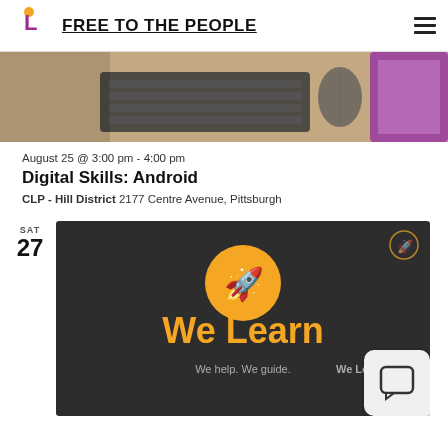FREE TO THE PEOPLE
[Figure (photo): Overhead view of a keyboard, mouse, and colorful tablet on a wooden desk]
August 25 @ 3:00 pm - 4:00 pm
Digital Skills: Android
CLP - Hill District 2177 Centre Avenue, Pittsburgh
[Figure (logo): We Learn logo: dark background with orange circle rocket icon and orange text 'We Learn', tagline 'We help. We guide. We Learn.']